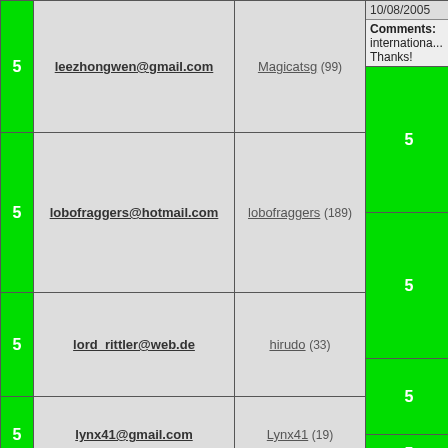| Score | Email | User | Date / Comments |
| --- | --- | --- | --- |
| 5 | leezhongwen@gmail.com | Magicatsg (99) | 10/08/2005 | Comments: international... Thanks! |
| 5 | lemonspritzerz@yahoo.com | LemonspritzerZ (75) | 02/27/2005 | Comments: problems h... |
| 5 | lobofraggers@hotmail.com | lobofraggers (189) | 10/26/2004 | Comments: my first tra... |
| 5 | longlivenecro@hotmail.com | Artie Pie (Banned) | 12/11/2001 | Comments: packaged w... time. |
| 5 | lord_rittler@web.de | hirudo (33) | 12/07/2004 | Comments: fast trader |
| 5 | lordtigerdawn@hotmail.com | TigerDawn (39) | 11/26/2002 | Comments: |
| 5 | lynx41@gmail.com | Lynx41 (19) | 10/04/2004 | Comments: |
| 5 | master_seer@hotmail.com | somekindofpoet (47) | 10/15/2004 | Comments: |